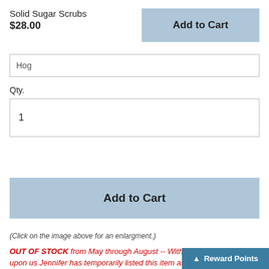Solid Sugar Scrubs
$28.00
[Figure (screenshot): Add to Cart button (light blue) in top-right]
Hog
Qty.
1
[Figure (screenshot): Add to Cart button (large, light blue)]
(Click on the image above for an enlargment.)
OUT OF STOCK from May through August -- With the heat of summer upon us Jennifer has temporarily listed this item as out of stock. The heat the product will face during shipping would compromise the overall quality. This product can be order for “pick up”
Reward Points